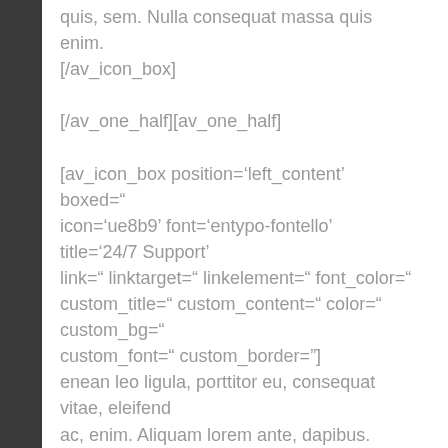quis, sem. Nulla consequat massa quis enim.
[/av_icon_box]

[/av_one_half][av_one_half]

[av_icon_box position='left_content' boxed=" icon='ue8b9' font='entypo-fontello' title='24/7 Support' link=" linktarget=" linkelement=" font_color=" custom_title=" custom_content=" color=" custom_bg=" custom_font=" custom_border="]
enean leo ligula, porttitor eu, consequat vitae, eleifend ac, enim. Aliquam lorem ante, dapibus.
[/av_icon_box]

[/av_one_half]
[/av_section]

[av_section min_height=" min_height_px='500px'